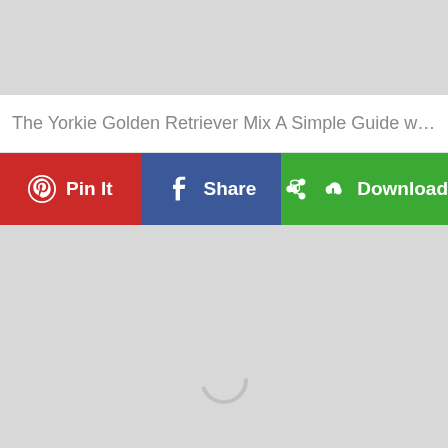[Figure (screenshot): Top gray placeholder area]
The Yorkie Golden Retriever Mix A Simple Guide with ...
[Figure (screenshot): Action bar with Pin It (red), Share (blue/Facebook), and Download (green) buttons]
[Figure (screenshot): Large gray content area with a loading spinner in the lower center]